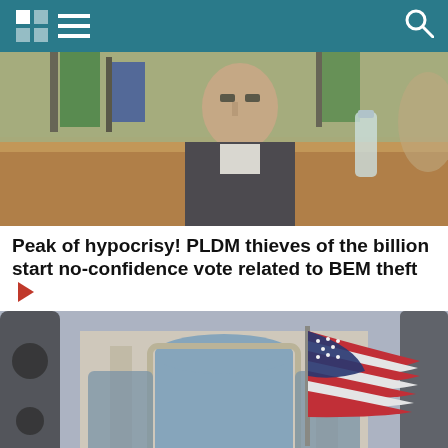Navigation header with logo and search icon
[Figure (photo): Man in suit sitting at a parliamentary desk with green and blue flags in the background and a water bottle visible]
Peak of hypocrisy! PLDM thieves of the billion start no-confidence vote related to BEM theft ▶
[Figure (photo): American flag flying at half-mast in front of a classical European-style building with ornate arched windows]
Partial headline text cut off at bottom of page